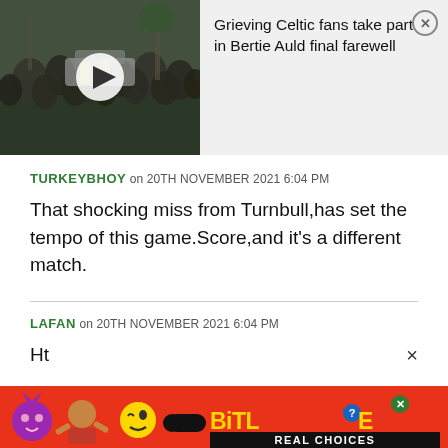[Figure (screenshot): Video thumbnail showing a crowd of people gathered outdoors with a police car visible, with a play button overlay.]
Grieving Celtic fans take part in Bertie Auld final farewell
TURKEYBHOY on 20TH NOVEMBER 2021 6:04 PM
That shocking miss from Turnbull,has set the tempo of this game.Score,and it’s a different match.
LAFAN on 20TH NOVEMBER 2021 6:04 PM
Ht
[Figure (screenshot): BitLife advertisement banner with red background, emoji characters (devil, woman with arms up, winking face), pill-shaped logo, and text REAL CHOICES.]